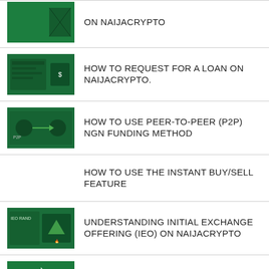ON NAIJACRYPTO
HOW TO REQUEST FOR A LOAN ON NAIJACRYPTO.
HOW TO USE PEER-TO-PEER (P2P) NGN FUNDING METHOD
HOW TO USE THE INSTANT BUY/SELL FEATURE
UNDERSTANDING INITIAL EXCHANGE OFFERING (IEO) ON NAIJACRYPTO
HOW TO ADD YOUR BANK DETAILS ON NAIJACRYPTO
HOW TO JOIN A COMPETITION ON NAIJACRYPTO
COIN STAKING ON NAIJACRYPTO